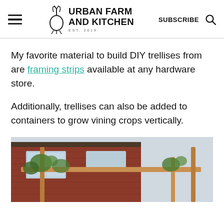Urban Farm and Kitchen — EST. 2019 | SUBSCRIBE
My favorite material to build DIY trellises from are framing strips available at any hardware store.
Additionally, trellises can also be added to containers to grow vining crops vertically.
[Figure (photo): Photo of a wooden trellis structure made from framing strips, with vining plants climbing on it, in front of a red brick building with windows.]